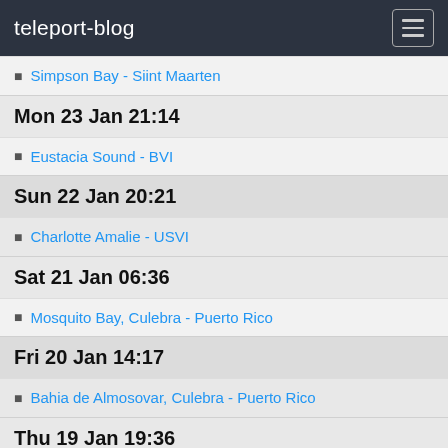teleport-blog
Simpson Bay - Siint Maarten
Mon 23 Jan 21:14
Eustacia Sound - BVI
Sun 22 Jan 20:21
Charlotte Amalie - USVI
Sat 21 Jan 06:36
Mosquito Bay, Culebra - Puerto Rico
Fri 20 Jan 14:17
Bahia de Almosovar, Culebra - Puerto Rico
Thu 19 Jan 19:36
Culebrita - Puerto Rico
Wed 18 Jan 16:17
Mosquito Bay, Culebra - Puerto Rico
Mon 16 Jan 20:20
Ensenada Honda, Culebra - Puerto Rico